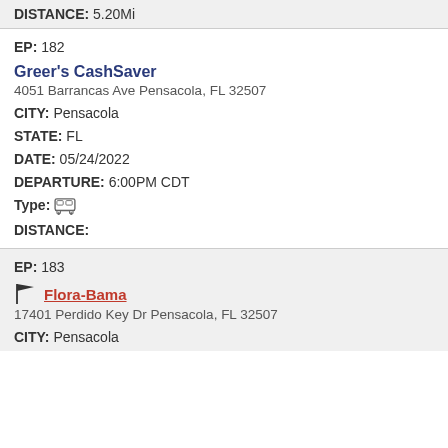DISTANCE: 5.20Mi
EP: 182
Greer's CashSaver
4051 Barrancas Ave Pensacola, FL 32507
CITY: Pensacola
STATE: FL
DATE: 05/24/2022
DEPARTURE: 6:00PM CDT
Type: [bus icon]
DISTANCE:
EP: 183
Flora-Bama
17401 Perdido Key Dr Pensacola, FL 32507
CITY: Pensacola